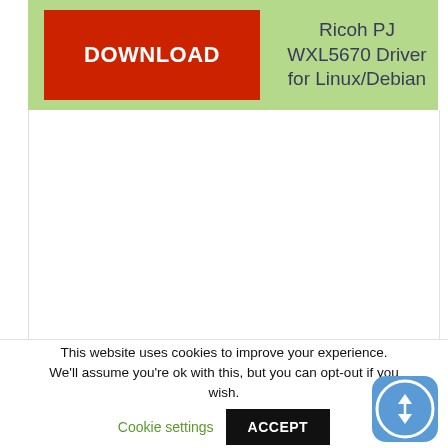[Figure (screenshot): Green download panel with a red DOWNLOAD button on the left and 'Ricoh PJ WXL5670 Driver for Linux/Debian' label on the right]
This website uses cookies to improve your experience. We'll assume you're ok with this, but you can opt-out if you wish.
Cookie settings
ACCEPT